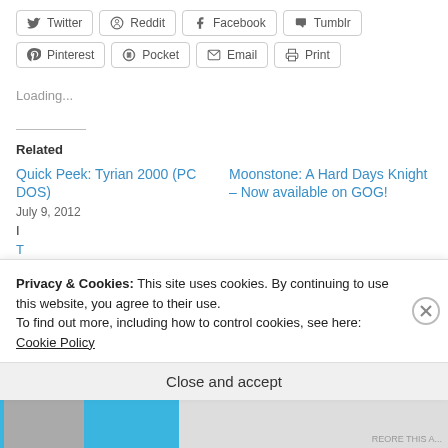Twitter, Reddit, Facebook, Tumblr (share buttons)
Pinterest, Pocket, Email, Print (share buttons)
Loading...
Related
Quick Peek: Tyrian 2000 (PC DOS)
July 9, 2012
Moonstone: A Hard Days Knight – Now available on GOG!
Privacy & Cookies: This site uses cookies. By continuing to use this website, you agree to their use.
To find out more, including how to control cookies, see here: Cookie Policy
Close and accept